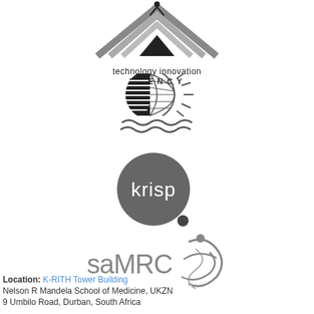[Figure (logo): Technology Innovation Agency logo — geometric mountain/chevron shapes in gray/black with text 'technology innovation AGENCY']
[Figure (logo): Globe/sun icon with water waves — half globe with horizontal lines and sun rays, wavy lines below, in dark gray]
[Figure (logo): KRISP logo — dark gray circle with white lowercase text 'krisp' and a small dark dot below-right]
[Figure (logo): saMRC logo — gray text 'saMRC' with stylized DNA/figure icon in gray]
Location: K-RITH Tower Building
Nelson R Mandela School of Medicine, UKZN
9 Umbilo Road, Durban, South Africa